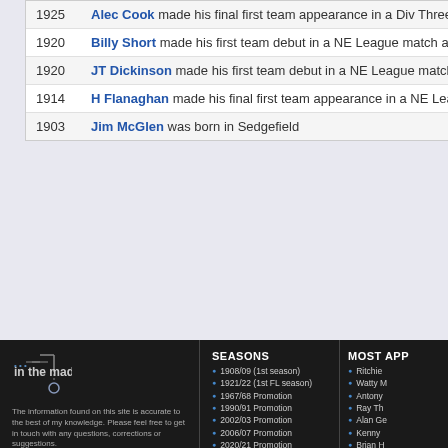| Year | Event |
| --- | --- |
| 1925 | Alec Cook made his final first team appearance in a Div Three ( |
| 1920 | Billy Short made his first team debut in a NE League match aga |
| 1920 | JT Dickinson made his first team debut in a NE League match |
| 1914 | H Flanaghan made his final first team appearance in a NE Leag |
| 1903 | Jim McGlen was born in Sedgefield |
in the mad crowd
The information found on this site is accurate to the best of my knowledge. Please feel free to get in touch with any questions, corrections or suggestions.
- John Phillips
contact me
SEASONS
1908/09 (1st season)
1921/22 (1st FL season)
1967/68 Promotion
1990/91 Promotion
2002/03 Promotion
2006/07 Promotion
2020/21 Promotion
Current Season
MOST APP
Ritchie
Watty M
Antony
Ray Th
Alan Ge
Kenny
Brian H
Micky B
Jackie
Tommy